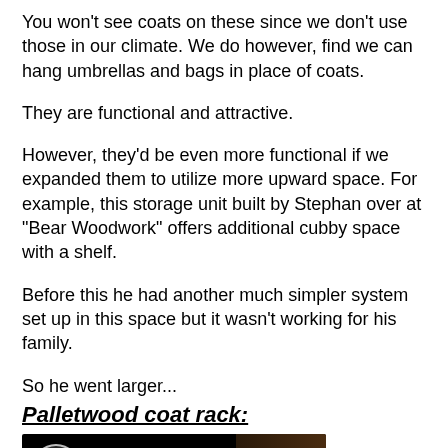You won't see coats on these since we don't use those in our climate. We do however, find we can hang umbrellas and bags in place of coats.
They are functional and attractive.
However, they'd be even more functional if we expanded them to utilize more upward space. For example, this storage unit built by Stephan over at "Bear Woodwork" offers additional cubby space with a shelf.
Before this he had another much simpler system set up in this space but it wasn't working for his family.
So he went larger...
Palletwood coat rack:
[Figure (screenshot): YouTube video thumbnail showing 'Pallet Wood Coat...' video - a pallet wood coat rack with cubbyholes and chalkboard, featuring a YouTube play button overlay]